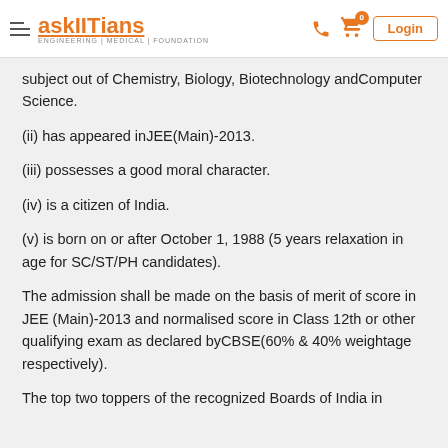askIITians - ENGINEERING | MEDICAL | FOUNDATION
subject out of Chemistry, Biology, Biotechnology andComputer Science.
(ii) has appeared inJEE(Main)-2013.
(iii) possesses a good moral character.
(iv) is a citizen of India.
(v) is born on or after October 1, 1988 (5 years relaxation in age for SC/ST/PH candidates).
The admission shall be made on the basis of merit of score in JEE (Main)-2013 and normalised score in Class 12th or other qualifying exam as declared byCBSE(60% & 40% weightage respectively).
The top two toppers of the recognized Boards of India in